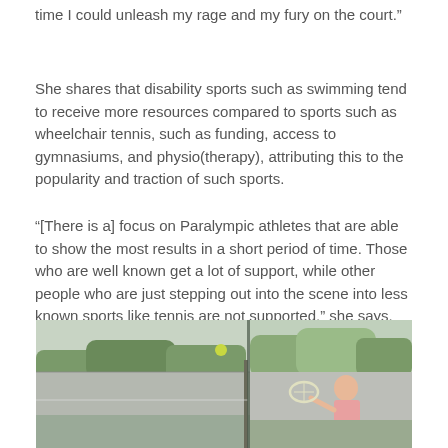time I could unleash my rage and my fury on the court.”
She shares that disability sports such as swimming tend to receive more resources compared to sports such as wheelchair tennis, such as funding, access to gymnasiums, and physio(therapy), attributing this to the popularity and traction of such sports.
“[There is a] focus on Paralympic athletes that are able to show the most results in a short period of time. Those who are well known get a lot of support, while other people who are just stepping out into the scene into less known sports like tennis are not supported,” she says.
[Figure (photo): A person playing wheelchair tennis on an outdoor court, with a green wall and trees in the background. The court has a net visible and the player is holding a tennis racket.]